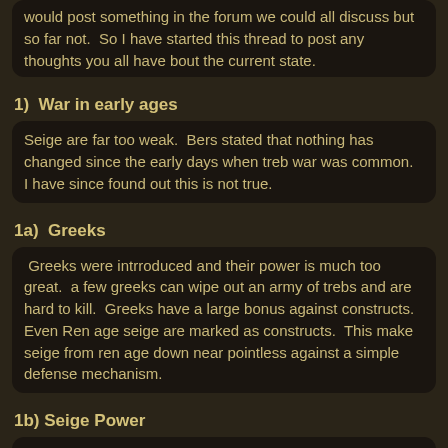would post something in the forum we could all discuss but so far not. So I have started this thread to post any thoughts you all have bout the current state.
1)  War in early ages
Seige are far too weak. Bers stated that nothing has changed since the early days when treb war was common. I have since found out this is not true.
1a)  Greeks
Greeks were intrroduced and their power is much too great. a few greeks can wipe out an army of trebs and are hard to kill. Greeks have a large bonus against constructs. Even Ren age seige are marked as constructs. This make seige from ren age down near pointless against a simple defense mechanism.
1b) Seige Power
I am told that the hero stat for army attack (intelligence) previously increased the power of seige. This was changed to be army only. This has